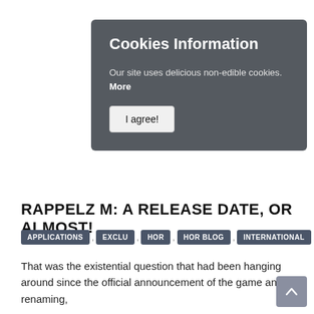Cookies Information
Our site uses delicious non-edible cookies. More
I agree!
RAPPELZ M: A RELEASE DATE, OR ALMOST!
APPLICATIONS , EXCLU , HOR , HOR BLOG , INTERNATIONAL , MOB
That was the existential question that had been hanging around since the official announcement of the game and its renaming, ...